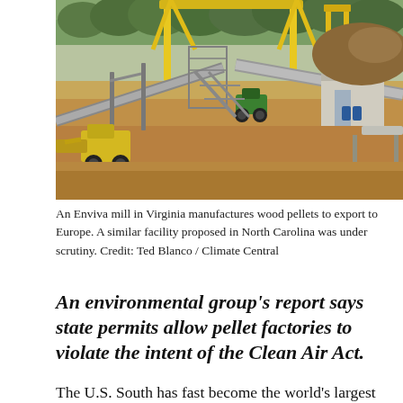[Figure (photo): An Enviva wood pellet mill facility with yellow industrial crane structures, conveyor belts, construction equipment including a yellow loader and green excavator, sandy ground, metal buildings, and a tree line in the background.]
An Enviva mill in Virginia manufactures wood pellets to export to Europe. A similar facility proposed in North Carolina was under scrutiny. Credit: Ted Blanco / Climate Central
An environmental group's report says state permits allow pellet factories to violate the intent of the Clean Air Act.
The U.S. South has fast become the world's largest